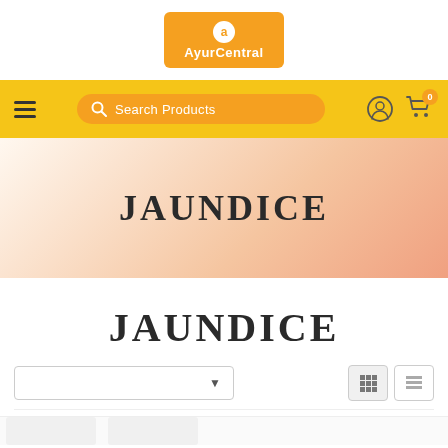[Figure (logo): AyurCentral logo: orange rounded rectangle with white circle containing 'a' and 'AyurCentral' text in white]
[Figure (screenshot): Yellow navigation bar with hamburger menu, orange pill-shaped search bar reading 'Search Products', login icon, and cart icon with badge '0']
[Figure (infographic): Hero banner with gradient background (white to peach/orange) containing the large text 'JAUNDICE']
JAUNDICE
[Figure (screenshot): Sort/filter dropdown box and grid/list view toggle icons]